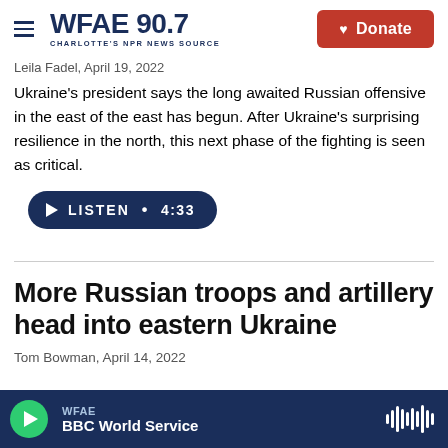WFAE 90.7 Charlotte's NPR News Source | Donate
Leila Fadel, April 19, 2022
Ukraine's president says the long awaited Russian offensive in the east of the east has begun. After Ukraine's surprising resilience in the north, this next phase of the fighting is seen as critical.
[Figure (other): Listen button with play icon, text: LISTEN • 4:33]
More Russian troops and artillery head into eastern Ukraine
Tom Bowman, April 14, 2022
[Figure (other): Audio player bar at bottom: WFAE BBC World Service with green play button and audio waveform icon]